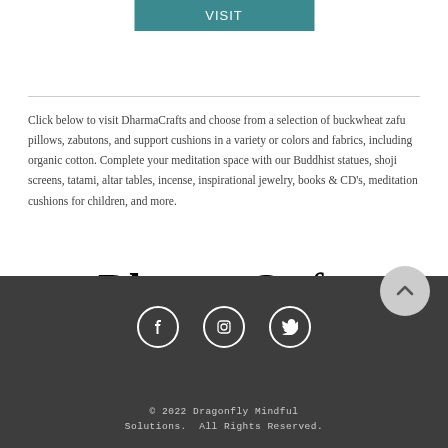[Figure (other): Teal/dark cyan button with text 'Visit']
Click below to visit DharmaCrafts and choose from a selection of buckwheat zafu pillows, zabutons, and support cushions in a variety or colors and fabrics, including organic cotton. Complete your meditation space with our Buddhist statues, shoji screens, tatami, altar tables, incense, inspirational jewelry, books & CD's, meditation cushions for children, and more.
[Figure (logo): DharmaCrafts logo — large bold 'DharmaCrafts' text with 'MEDITATION SUPPLIES since 1979' below]
[Figure (other): Dark gray footer bar with social media icons (Facebook, Instagram, Twitter) and a back-to-top circular button]
© 2022 Dragonfly Mindful Solutions.  All Rights Reserved.